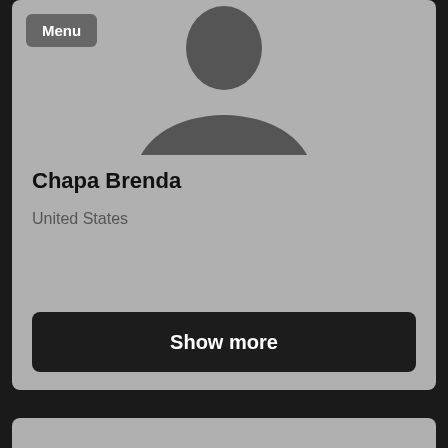[Figure (photo): Default avatar silhouette of a person (head and shoulders) in dark gray on a light gray background]
Chapa Brenda
United States
Show more